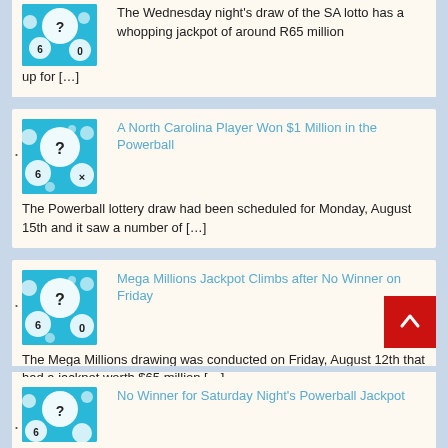[Figure (photo): Lottery balls on blue background - partial top card]
The Wednesday night's draw of the SA lotto has a whopping jackpot of around R65 million up for […]
A North Carolina Player Won $1 Million in the Powerball
[Figure (photo): Lottery balls on blue background]
The Powerball lottery draw had been scheduled for Monday, August 15th and it saw a number of […]
Mega Millions Jackpot Climbs after No Winner on Friday
[Figure (photo): Lottery balls on blue background]
The Mega Millions drawing was conducted on Friday, August 12th that had a jackpot worth $65 million […]
No Winner for Saturday Night's Powerball Jackpot
[Figure (photo): Lottery balls on blue background - partial bottom card]